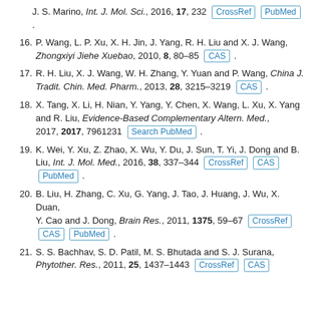J. S. Marino, Int. J. Mol. Sci., 2016, 17, 232 [CrossRef] [PubMed].
16. P. Wang, L. P. Xu, X. H. Jin, J. Yang, R. H. Liu and X. J. Wang, Zhongxiyi Jiehe Xuebao, 2010, 8, 80–85 [CAS].
17. R. H. Liu, X. J. Wang, W. H. Zhang, Y. Yuan and P. Wang, China J. Tradit. Chin. Med. Pharm., 2013, 28, 3215–3219 [CAS].
18. X. Tang, X. Li, H. Nian, Y. Yang, Y. Chen, X. Wang, L. Xu, X. Yang and R. Liu, Evidence-Based Complementary Altern. Med., 2017, 2017, 7961231 [Search PubMed].
19. K. Wei, Y. Xu, Z. Zhao, X. Wu, Y. Du, J. Sun, T. Yi, J. Dong and B. Liu, Int. J. Mol. Med., 2016, 38, 337–344 [CrossRef] [CAS] [PubMed].
20. B. Liu, H. Zhang, C. Xu, G. Yang, J. Tao, J. Huang, J. Wu, X. Duan, Y. Cao and J. Dong, Brain Res., 2011, 1375, 59–67 [CrossRef] [CAS] [PubMed].
21. S. S. Bachhav, S. D. Patil, M. S. Bhutada and S. J. Surana, Phytother. Res., 2011, 25, 1437–1443 [CrossRef] [CAS].